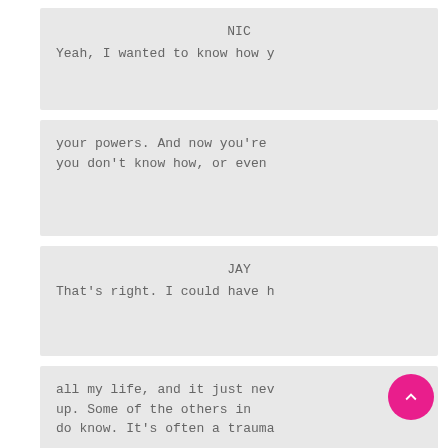NIC
Yeah, I wanted to know how y
your powers. And now you're
you don't know how, or even
JAY
That's right. I could have h
all my life, and it just nev
up. Some of the others in
do know. It's often a trauma